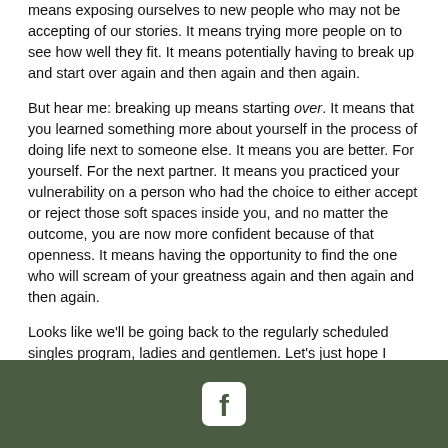means exposing ourselves to new people who may not be accepting of our stories. It means trying more people on to see how well they fit. It means potentially having to break up and start over again and then again and then again.
But hear me: breaking up means starting over. It means that you learned something more about yourself in the process of doing life next to someone else. It means you are better. For yourself. For the next partner. It means you practiced your vulnerability on a person who had the choice to either accept or reject those soft spaces inside you, and no matter the outcome, you are now more confident because of that openness. It means having the opportunity to find the one who will scream of your greatness again and then again and then again.
Looks like we'll be going back to the regularly scheduled singles program, ladies and gentlemen. Let's just hope I remember how to Bumble.
[Figure (logo): Facebook logo icon (white 'f' on rounded square) centered in dark green footer bar]